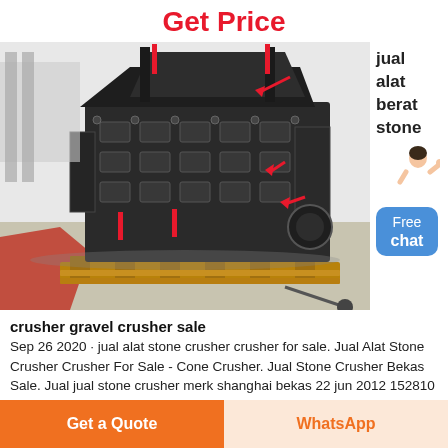Get Price
[Figure (photo): A large industrial stone crusher machine (impact crusher) in dark grey/black color, sitting on a wooden pallet in what appears to be a factory or warehouse environment. Red arrows point to various parts of the machine.]
jual alat berat stone
[Figure (illustration): Small avatar/illustration of a woman in white shirt with hand raised, likely a customer service representative]
Free chat
crusher gravel crusher sale
Sep 26 2020 · jual alat stone crusher crusher for sale. Jual Alat Stone Crusher Crusher For Sale - Cone Crusher. Jual Stone Crusher Bekas Sale. Jual jual stone crusher merk shanghai bekas 22 jun 2012 152810 alat berat bekas Crusher
Get a Quote
WhatsApp